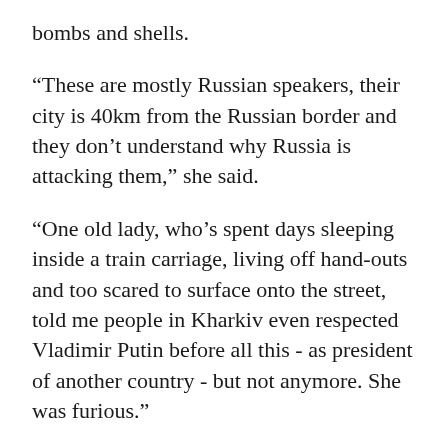bombs and shells.
“These are mostly Russian speakers, their city is 40km from the Russian border and they don’t understand why Russia is attacking them,” she said.
“One old lady, who’s spent days sleeping inside a train carriage, living off hand-outs and too scared to surface onto the street, told me people in Kharkiv even respected Vladimir Putin before all this - as president of another country - but not anymore. She was furious.”
'Mum won't believe me'